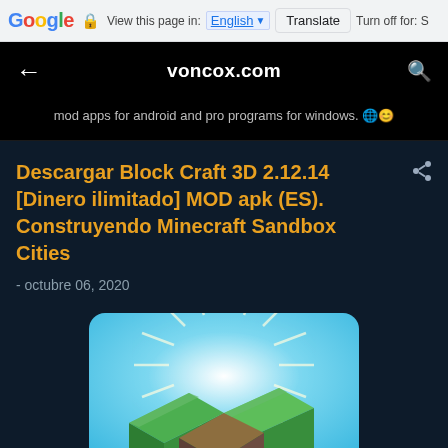Google  View this page in: English [▼]  Translate  Turn off for: S
[Figure (screenshot): Mobile browser navigation bar showing voncox.com in black with back arrow and search icon]
mod apps for android and pro programs for windows. 🌐😊
Descargar Block Craft 3D 2.12.14 [Dinero ilimitado] MOD apk (ES). Construyendo Minecraft Sandbox Cities
- octubre 06, 2020
[Figure (illustration): Block Craft 3D game art showing colorful 3D blocks on a light blue sky background with green grass-topped blocks and brown/orange wooden blocks]